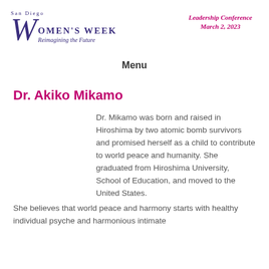San Diego Women's Week – Reimagining the Future | Leadership Conference | March 2, 2023
Menu
Dr. Akiko Mikamo
Dr. Mikamo was born and raised in Hiroshima by two atomic bomb survivors and promised herself as a child to contribute to world peace and humanity. She graduated from Hiroshima University, School of Education, and moved to the United States.
She believes that world peace and harmony starts with healthy individual psyche and harmonious intimate